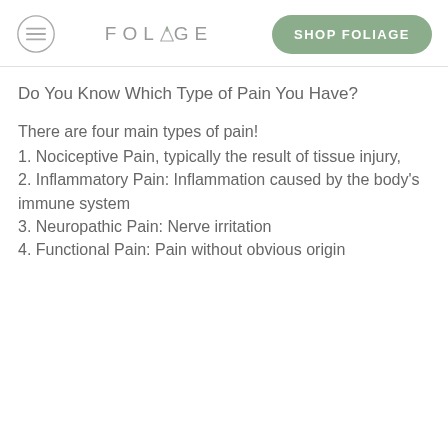FOLIAGE  SHOP FOLIAGE
Do You Know Which Type of Pain You Have?
There are four main types of pain!
1. Nociceptive Pain, typically the result of tissue injury,
2. Inflammatory Pain: Inflammation caused by the body's immune system
3. Neuropathic Pain: Nerve irritation
4. Functional Pain: Pain without obvious origin